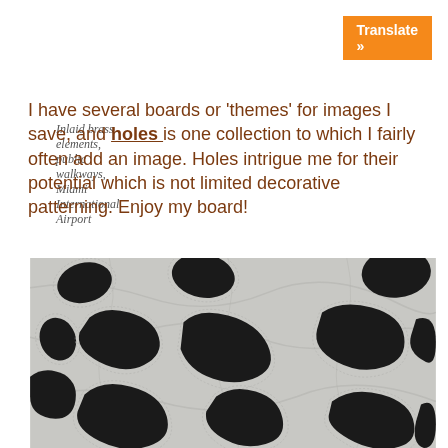Translate »
Inlaid brass elements, public walkways, Miami International Airport
I have several boards or 'themes' for images I save, and holes is one collection to which I fairly often add an image. Holes intrigue me for their potential which is not limited decorative patterning. Enjoy my board!
[Figure (photo): Close-up photograph of a grey fabric or textile with irregular black holes/cutouts scattered across it, showing a perforated pattern with stitched edges.]